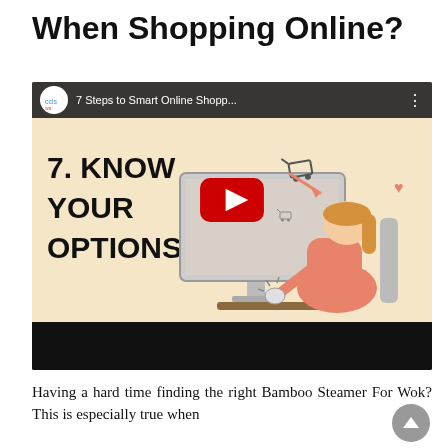When Shopping Online?
[Figure (screenshot): YouTube video thumbnail showing '7 Steps to Smart Online Shopp...' by cclswa channel. The thumbnail shows an illustration of a woman sitting at a desk using a computer with text '7. KNOW YOUR OPTIONS!' on the left side. A red YouTube play button is overlaid in the center. The video player has a dark top bar with the channel avatar, video title, and menu dots, and a black bottom bar.]
Having a hard time finding the right Bamboo Steamer For Wok? This is especially true when